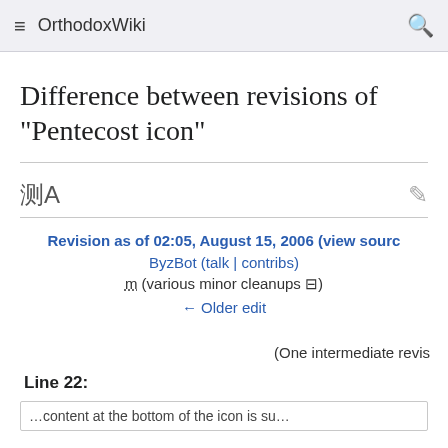OrthodoxWiki
Difference between revisions of "Pentecost icon"
Revision as of 02:05, August 15, 2006 (view source)
ByzBot (talk | contribs)
m (various minor cleanups ⊟)
← Older edit
(One intermediate revi…
Line 22:
…content at the bottom of the icon is su…